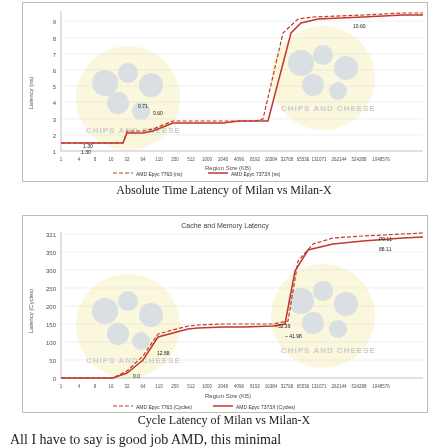[Figure (continuous-plot): Line chart showing absolute time latency (ns) vs region size (KB) for AMD EPYC Milan (7763) and Milan-X (7773X). Two lines: red dashed for Milan 7763 and red solid for Milan-X 7773X, with stepped increases corresponding to cache levels. Watermark: CHIPS AND CHEESE.]
Absolute Time Latency of Milan vs Milan-X
[Figure (continuous-plot): Line chart showing cache and memory latency in cycles vs region size (KB) for AMD EPYC Milan (7763) and Milan-X (7773X). Two lines: red dashed for Milan 7763 and red solid for Milan-X 7773X, with stepped increases at cache boundaries. Watermark: CHIPS AND CHEESE.]
Cycle Latency of Milan vs Milan-X
All I have to say is good job AMD, this minimal